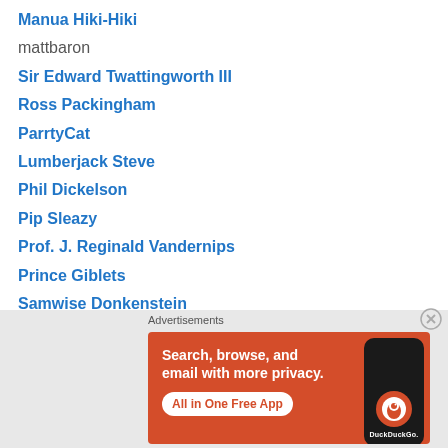Manua Hiki-Hiki
mattbaron
Sir Edward Twattingworth III
Ross Packingham
ParrtyCat
Lumberjack Steve
Phil Dickelson
Pip Sleazy
Prof. J. Reginald Vandernips
Prince Giblets
Samwise Donkenstein
Scurvy Jacobson
Sherman Ave
Smangston Hughes
[Figure (infographic): DuckDuckGo advertisement banner with orange background. Text reads 'Search, browse, and email with more privacy. All in One Free App'. Shows a smartphone image with DuckDuckGo logo.]